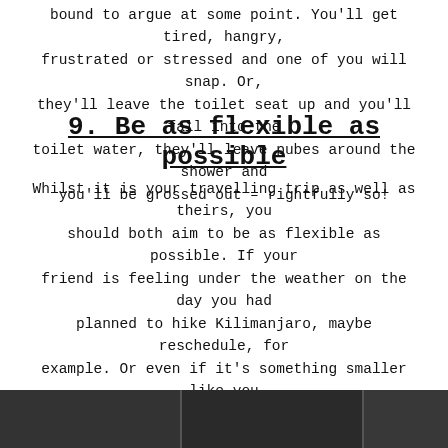bound to argue at some point. You'll get tired, hangry, frustrated or stressed and one of you will snap. Or, they'll leave the toilet seat up and you'll fall into the toilet water, they'll leave pubes around the shower and you'll be grossed out – rightfully so!
9. Be as flexible as possible
Whilst it is your travelling trip as well as theirs, you should both aim to be as flexible as possible. If your friend is feeling under the weather on the day you had planned to hike Kilimanjaro, maybe reschedule, for example. Or even if it's something smaller like you slept poorly one night and were due to get an early start, ask if they'd mind pushing the day's activities back by a couple of hours or so.
[Figure (photo): Dark bottom strip, partial photo visible at bottom of page]